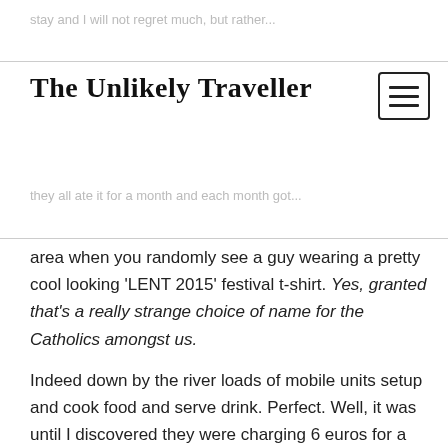The Unlikely Traveller
area when you randomly see a guy wearing a pretty cool looking 'LENT 2015' festival t-shirt. Yes, granted that's a really strange choice of name for the Catholics amongst us.
Indeed down by the river loads of mobile units setup and cook food and serve drink. Perfect. Well, it was until I discovered they were charging 6 euros for a bugger and 9 euros for a mixed grill style meat-feast and let's be clear gourmet burger this was not! Still, I enjoyed the atmosphere and the live music and settled for the more affordable but less healthy pizza slice and ice-cream.